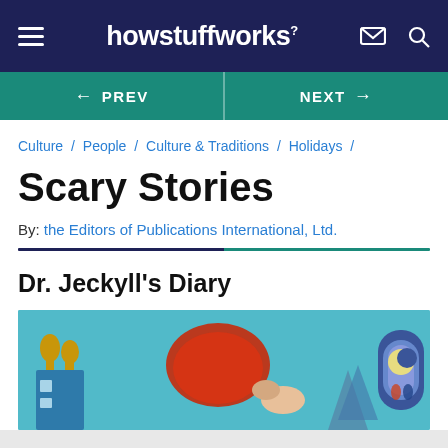howstuffworks
← PREV  NEXT →
Culture / People / Culture & Traditions / Holidays /
Scary Stories
By: the Editors of Publications International, Ltd.
Dr. Jeckyll's Diary
[Figure (illustration): Colorful illustrated artwork showing a figure with red/orange hair against a teal/blue background with buildings and trees]